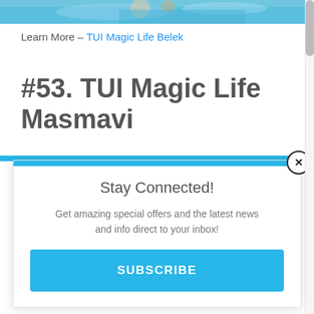[Figure (photo): Top portion of a travel/resort photo showing blue water and people, cropped at the top of the page]
Learn More – TUI Magic Life Belek
#53. TUI Magic Life Masmavi
Stay Connected!
Get amazing special offers and the latest news and info direct to your inbox!
SUBSCRIBE